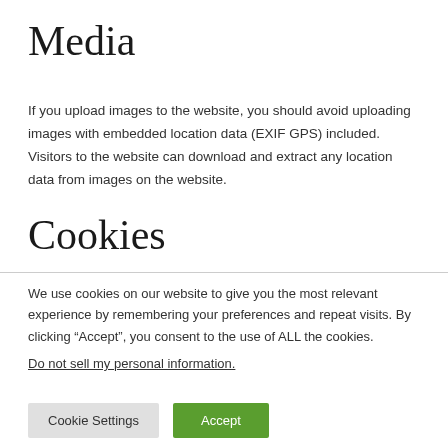Media
If you upload images to the website, you should avoid uploading images with embedded location data (EXIF GPS) included. Visitors to the website can download and extract any location data from images on the website.
Cookies
We use cookies on our website to give you the most relevant experience by remembering your preferences and repeat visits. By clicking “Accept”, you consent to the use of ALL the cookies.
Do not sell my personal information.